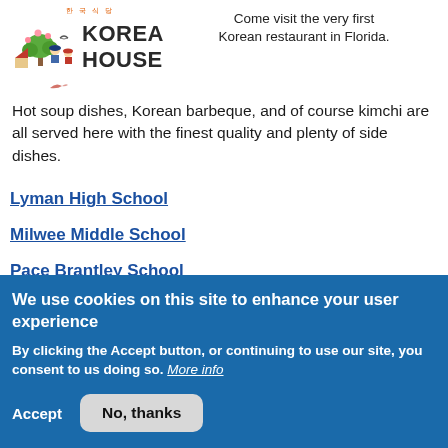[Figure (logo): Korea House restaurant logo with illustrated characters and Korean text]
Come visit the very first Korean restaurant in Florida. Hot soup dishes, Korean barbeque, and of course kimchi are all served here with the finest quality and plenty of side dishes.
Lyman High School
Milwee Middle School
Pace Brantley School
We use cookies on this site to enhance your user experience
By clicking the Accept button, or continuing to use our site, you consent to us doing so. More info
Accept   No, thanks